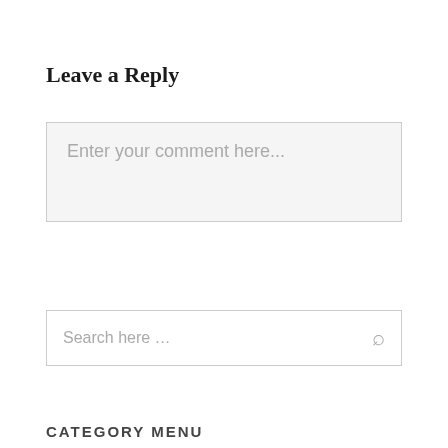Leave a Reply
Enter your comment here...
Search here …
CATEGORY MENU